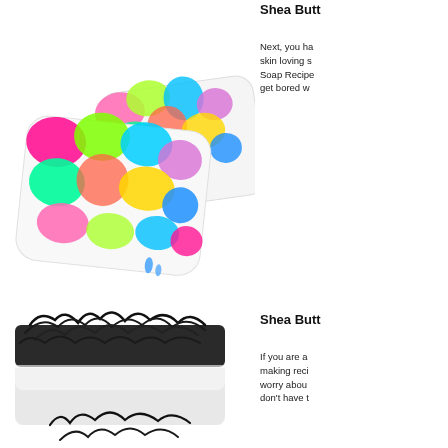[Figure (photo): Two colorful tie-dye patterned soap bars with vibrant pink, green, yellow, blue swirls on white background]
Shea Butt
Next, you ha skin loving s Soap Recipe get bored w
[Figure (photo): Dark charcoal/black textured soap bar with dried botanicals or seaweed on top, white base]
Shea Butt
If you are a making reci worry abou don't have t